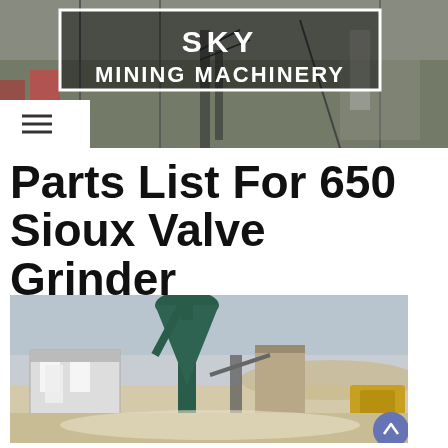[Figure (screenshot): SKY Mining Machinery website header banner with aerial photo of industrial mining facility, white bordered logo box reading SKY MINING MACHINERY, and hamburger menu icon]
Parts List For 650 Sioux Valve Grinder
[Figure (photo): Industrial grinding/milling plant with green cyclone dust collector tower, steel structure building, conveyor systems, and arid desert landscape background]